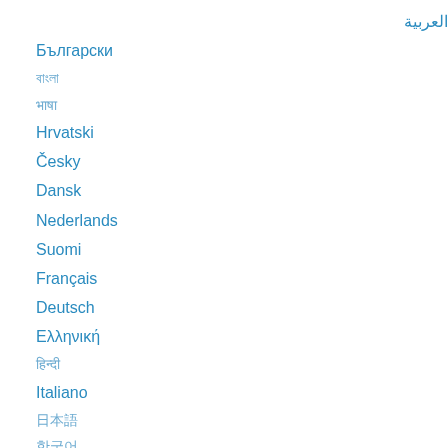العربية
Български
বাংলা
भाषा
Hrvatski
Česky
Dansk
Nederlands
Suomi
Français
Deutsch
Ελληνική
हिन्दी
Italiano
日本語
한국어
Norsk
Polski
Português